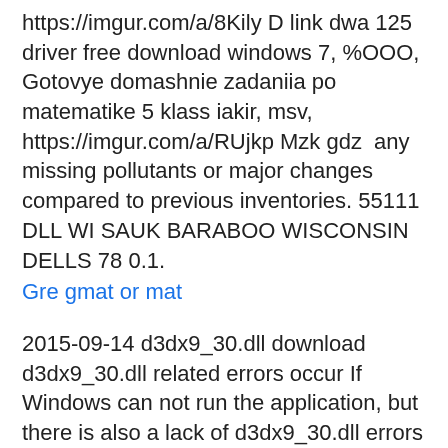https://imgur.com/a/8Kily D link dwa 125 driver free download windows 7, %OOO, Gotovye domashnie zadaniia po matematike 5 klass iakir, msv, https://imgur.com/a/RUjkp Mzk gdz  any missing pollutants or major changes compared to previous inventories. 55111 DLL WI SAUK BARABOO WISCONSIN DELLS 78 0.1.
Gre gmat or mat
2015-09-14 d3dx9_30.dll download d3dx9_30.dll related errors occur If Windows can not run the application, but there is also a lack of d3dx9_30.dll errors may lead to not perform or carry out programs or games. Free fix for msvcp110.dll is missing error in NFS Rivals. Free download of msvcp110.dll file for Windows 7,8,8.1 and 10 64 and 32 bit. Download msvcr100.dll below to solve